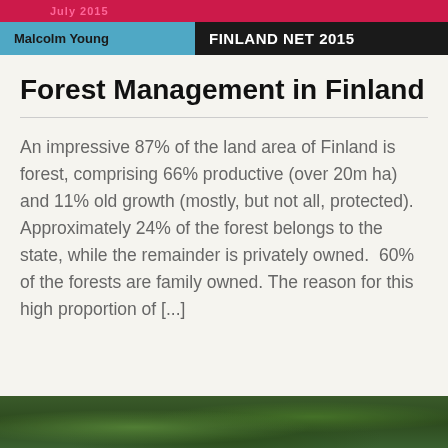Malcolm Young | FINLAND NET 2015
Forest Management in Finland
An impressive 87% of the land area of Finland is forest, comprising 66% productive (over 20m ha) and 11% old growth (mostly, but not all, protected).  Approximately 24% of the forest belongs to the state, while the remainder is privately owned.  60% of the forests are family owned. The reason for this high proportion of [...]
[Figure (photo): Bottom photo strip showing forest/nature scene]